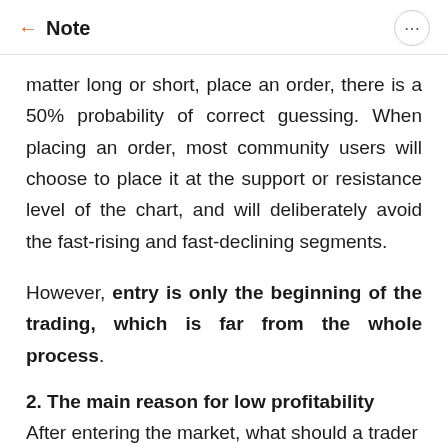← Note
matter long or short, place an order, there is a 50% probability of correct guessing. When placing an order, most community users will choose to place it at the support or resistance level of the chart, and will deliberately avoid the fast-rising and fast-declining segments.
However, entry is only the beginning of the trading, which is far from the whole process.
2. The main reason for low profitability
After entering the market, what should a trader